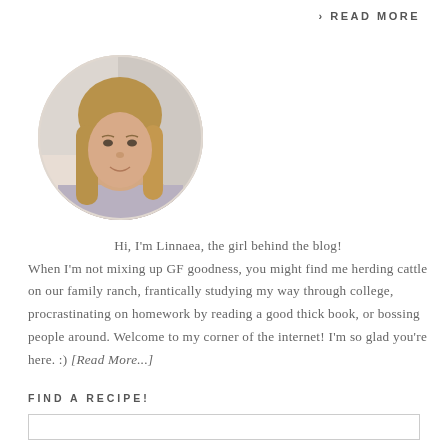› READ MORE
[Figure (photo): Circular profile photo of a young woman with long blonde-brown hair, smiling, on a light background.]
Hi, I'm Linnaea, the girl behind the blog! When I'm not mixing up GF goodness, you might find me herding cattle on our family ranch, frantically studying my way through college, procrastinating on homework by reading a good thick book, or bossing people around. Welcome to my corner of the internet! I'm so glad you're here. :) [Read More...]
FIND A RECIPE!